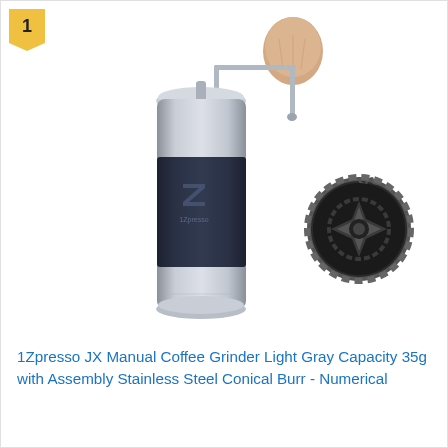[Figure (photo): Product photo of 1Zpresso JX Manual Coffee Grinder in light gray/silver with dark grip, crank handle with wooden knob, and a separate view of the conical burr grinding mechanism shown to the right.]
1Zpresso JX Manual Coffee Grinder Light Gray Capacity 35g with Assembly Stainless Steel Conical Burr - Numerical